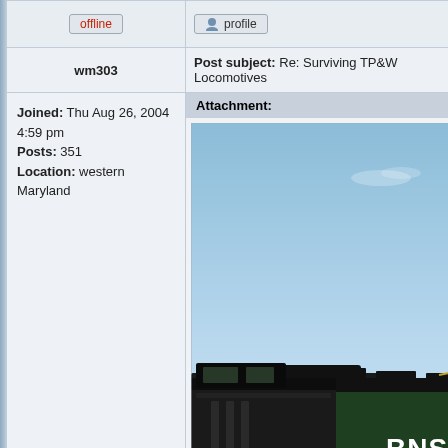offline
profile
wm303
Post subject: Re: Surviving TP&W Locomotives
Joined: Thu Aug 26, 2004 4:59 pm
Posts: 351
Location: western Maryland
Attachment:
[Figure (photo): Photograph of a BNSF locomotive, dark green/black color, photographed against a blue sky. The front and top of the locomotive cab is visible in the lower right portion of the image.]